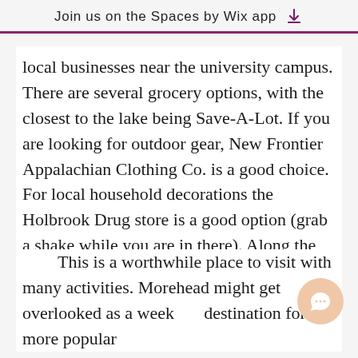Join us on the Spaces by Wix app ↓
local businesses near the university campus. There are several grocery options, with the closest to the lake being Save-A-Lot. If you are looking for outdoor gear, New Frontier Appalachian Clothing Co. is a good choice. For local household decorations the Holbrook Drug store is a good option (grab a shake while you are in there). Along the main street, there are several boutiques to choose from.
This is a worthwhile place to visit with many activities. Morehead might get overlooked as a weekend destination for the more popular Red River Gorge, but this is a place